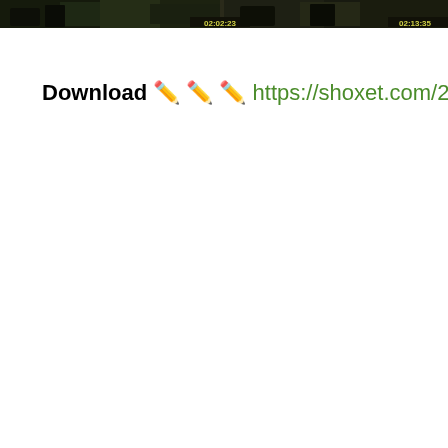[Figure (screenshot): Video player screenshot showing a dark scene with timestamp overlays reading '02:02:23' and '02:13:35']
Download ✏️ ✏️ ✏️ https://shoxet.com/2m3ezo